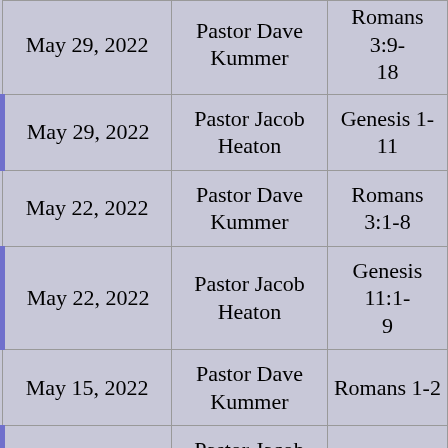| Date | Speaker | Scripture |
| --- | --- | --- |
| May 29, 2022 | Pastor Dave Kummer | Romans 3:9-18 |
| May 29, 2022 | Pastor Jacob Heaton | Genesis 1-11 |
| May 22, 2022 | Pastor Dave Kummer | Romans 3:1-8 |
| May 22, 2022 | Pastor Jacob Heaton | Genesis 11:1-9 |
| May 15, 2022 | Pastor Dave Kummer | Romans 1-2 |
| May 15, 2022 | Pastor Jacob Heaton | Genesis 10 |
| May 8, 2022 | Pastor Dave Kummer | Romans 2:17-29 |
| May 8, 2022 | Pastor Jacob Heaton | Genesis 9 |